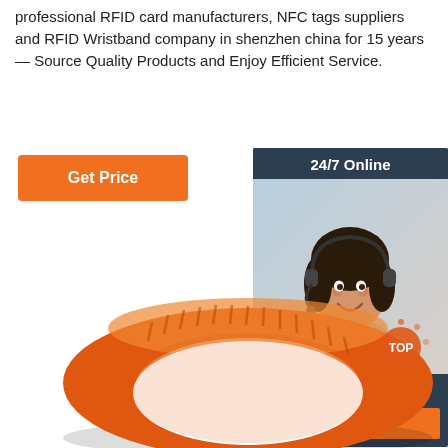professional RFID card manufacturers, NFC tags suppliers and RFID Wristband company in shenzhen china for 15 years — Source Quality Products and Enjoy Efficient Service.
[Figure (other): Orange 'Get Price' button]
[Figure (other): Customer service chat widget with '24/7 Online' header, photo of female customer service agent with headset, 'Click here for free chat!' text, and orange QUOTATION button]
[Figure (photo): Orange silicone RFID wristband photographed from above at an angle, showing the ring shape with ridged inner surface]